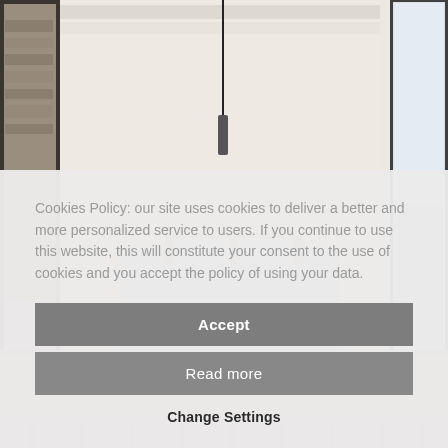[Figure (photo): Interior photo of a minimalist white bedroom with exposed wooden ceiling beams, pendant light, white bedding, and an open doorway showing a stone-walled room beyond. Large windows on right side.]
Cookies Policy: our site uses cookies to deliver a better and more personalized service to users. If you continue to use this website, this will constitute your consent to the use of cookies and you accept the policy of using your data.
Accept
Read more
Change Settings